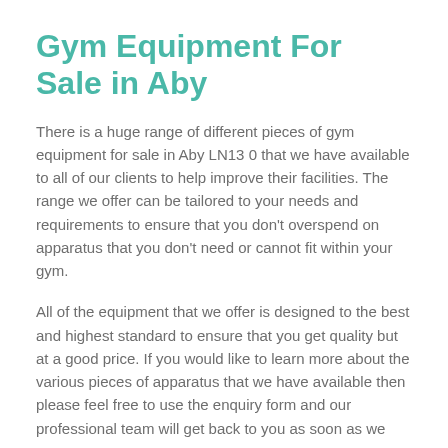Gym Equipment For Sale in Aby
There is a huge range of different pieces of gym equipment for sale in Aby LN13 0 that we have available to all of our clients to help improve their facilities. The range we offer can be tailored to your needs and requirements to ensure that you don't overspend on apparatus that you don't need or cannot fit within your gym.
All of the equipment that we offer is designed to the best and highest standard to ensure that you get quality but at a good price. If you would like to learn more about the various pieces of apparatus that we have available then please feel free to use the enquiry form and our professional team will get back to you as soon as we can.
If you would like to find out more information on our gym equipment for sale, please feel free to get in touch with our specialist team who will respond to your questions as soon as possible. We can also provide any answers you require.